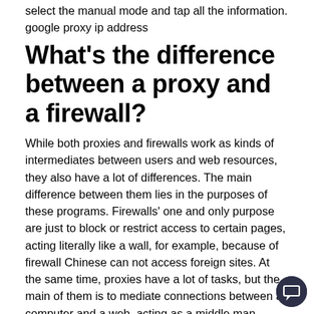select the manual mode and tap all the information. google proxy ip address
What's the difference between a proxy and a firewall?
While both proxies and firewalls work as kinds of intermediates between users and web resources, they also have a lot of differences. The main difference between them lies in the purposes of these programs. Firewalls' one and only purpose are just to block or restrict access to certain pages, acting literally like a wall, for example, because of firewall Chinese can not access foreign sites. At the same time, proxies have a lot of tasks, but the main of them is to mediate connections between a computer and a web, acting as a middle man. google proxy number
How to change proxy settings in Windows 10?